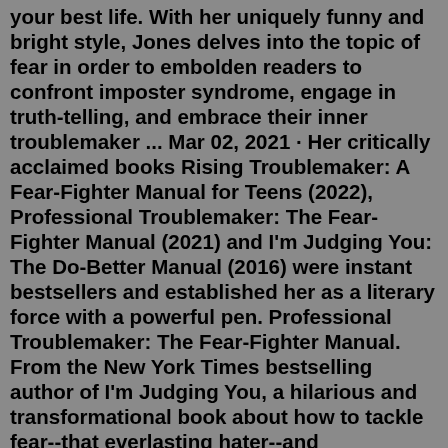your best life. With her uniquely funny and bright style, Jones delves into the topic of fear in order to embolden readers to confront imposter syndrome, engage in truth-telling, and embrace their inner troublemaker ... Mar 02, 2021 · Her critically acclaimed books Rising Troublemaker: A Fear-Fighter Manual for Teens (2022), Professional Troublemaker: The Fear-Fighter Manual (2021) and I'm Judging You: The Do-Better Manual (2016) were instant bestsellers and established her as a literary force with a powerful pen. Professional Troublemaker: The Fear-Fighter Manual. From the New York Times bestselling author of I'm Judging You, a hilarious and transformational book about how to tackle fear--that everlasting hater--and audaciously step into lives, careers, and legacies that go beyond even our wildest dreams. Luvvie Ajayi Jones is known for her trademark ... With humor and honesty, and guided by the influence of her professional troublemaking Nigerian grandmother, Funmilayo Faloyin, Luvvie walks us through what we